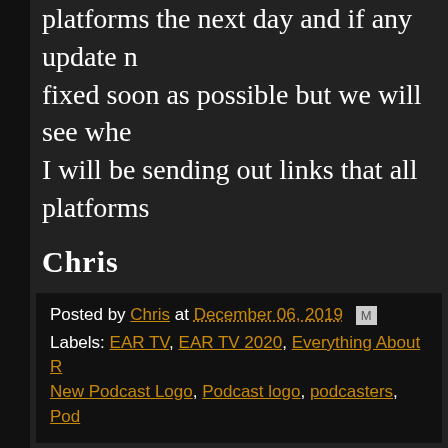platforms the next day and if any update n... fixed soon as possible but we will see whe... I will be sending out links that all platforms...
Chris
Posted by Chris at December 06, 2019
Labels: EAR TV, EAR TV 2020, Everything About R..., New Podcast Logo, Podcast logo, podcasters, Pod...
No comments:
Post a Comment
Newer Post   Hor...